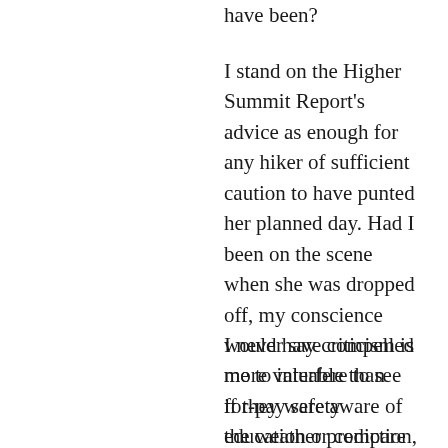have been?
I stand on the Higher Summit Report's advice as enough for any hiker of sufficient caution to have punted her planned day. Had I been on the scene when she was dropped off, my conscience would have compelled me to interfere to see if they were aware of the weather prediction, and then demand she not go.
I never say criticism is more valuable than for-pay safety education or compare the two. But in fact, more people